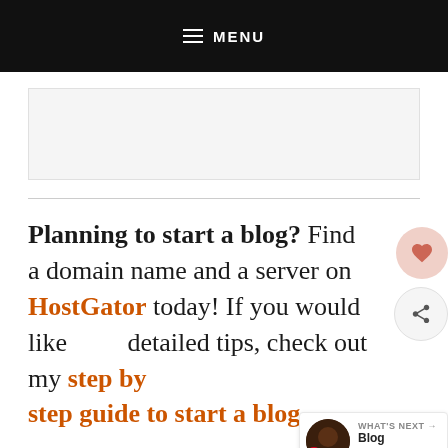MENU
Planning to start a blog? Find a domain name and a server on HostGator today! If you would like detailed tips, check out my step by step guide to start a blog.
Have an existing blog in need of